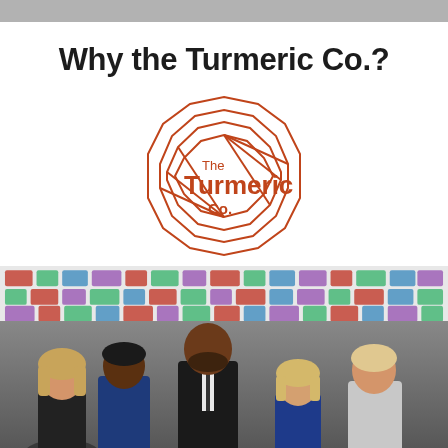Why the Turmeric Co.?
[Figure (logo): The Turmeric Co. logo — a geometric faceted circular shape in terracotta/rust red outline with 'The Turmeric Co.' text inside in bold rust-red lettering]
[Figure (photo): Group photo of five people (three men, two women) standing in front of a sponsor backdrop wall with various logos. They are dressed formally/semi-formally.]